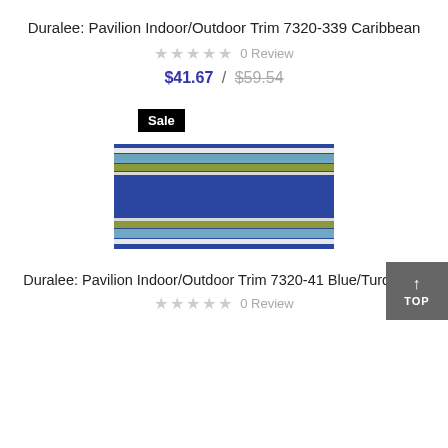Duralee: Pavilion Indoor/Outdoor Trim 7320-339 Caribbean
★★★★★ 0 Review
$41.67 / $59.54
Sale
[Figure (photo): Fabric trim swatch showing blue, light blue, white, and olive/green horizontal stripes on a ribbed textile background.]
Duralee: Pavilion Indoor/Outdoor Trim 7320-41 Blue/Turquoise
★★★★★ 0 Review